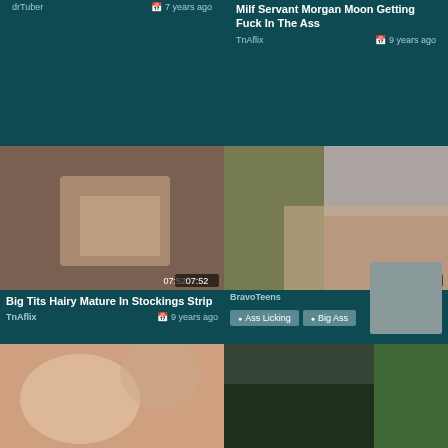drTuber
7 years ago
Milf Servant Morgan Moon Getting Fuck In The Ass
TnAflix
9 years ago
[Figure (photo): Adult video thumbnail - woman]
Big Tits Hairy Mature In Stockings Strip
TnAflix
9 years ago
[Figure (photo): Adult video thumbnail - couple]
BravoTeens
7 years ago
Ass Licking
Big Ass
[Figure (photo): Adult video thumbnail bottom left]
[Figure (photo): Adult video thumbnail bottom right]